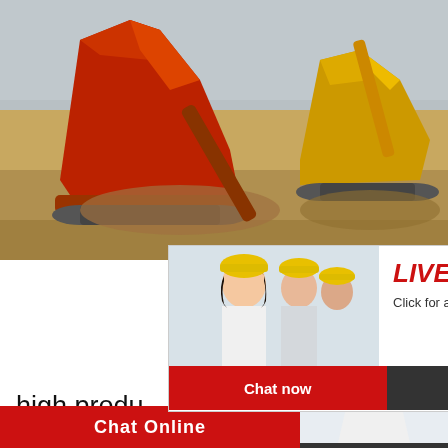[Figure (photo): Large industrial mining/crushing machinery - red and yellow equipment on a sandy terrain with grey sky background]
[Figure (screenshot): Live chat popup overlay showing workers in yellow hard hats, with 'LIVE CHAT' title in red italic, 'Click for a Free Consultation' subtitle, and 'Chat now' (red) and 'Chat later' (dark) buttons]
[Figure (photo): Right side panel showing 'hrs Online' in red bar, female customer service agent with headset photo, 'Need questions & suggestion?' text in dark box, and red 'Chat Now' oval button]
high produ
High-efficient Flotation Cell—Reliable Copp Aiming at copper flotation equipment, prm ha improved a high-efficient and energy-saving cell on the basis of traditional flotation cell, w
Chat Online